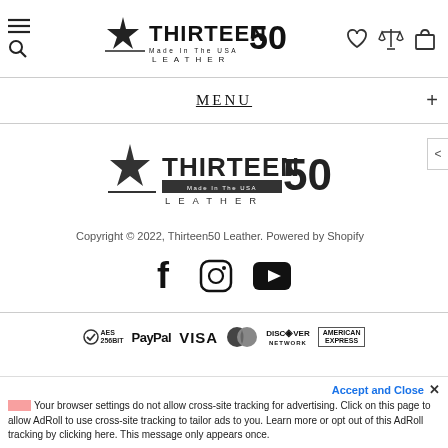Thirteen50 Leather — Made in the USA — header with navigation icons
MENU +
[Figure (logo): Thirteen50 Leather Made in the USA logo — large version centered on page]
Copyright © 2022, Thirteen50 Leather. Powered by Shopify
[Figure (infographic): Social media icons: Facebook, Instagram, YouTube]
[Figure (infographic): Payment method icons: AES 256bit, PayPal, VISA, MasterCard, Discover Network, American Express]
Accept and Close ✕
Your browser settings do not allow cross-site tracking for advertising. Click on this page to allow AdRoll to use cross-site tracking to tailor ads to you. Learn more or opt out of this AdRoll tracking by clicking here. This message only appears once.